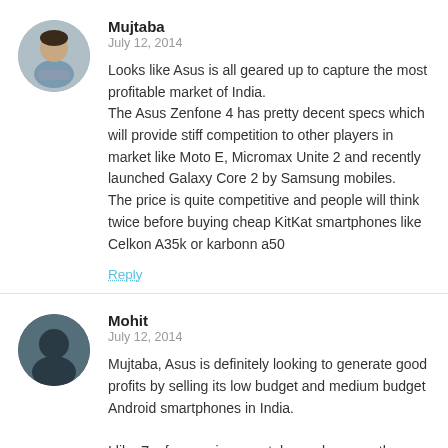[Figure (photo): Round avatar photo of Mujtaba, a man in casual clothing]
Mujtaba
July 12, 2014

Looks like Asus is all geared up to capture the most profitable market of India.
The Asus Zenfone 4 has pretty decent specs which will provide stiff competition to other players in market like Moto E, Micromax Unite 2 and recently launched Galaxy Core 2 by Samsung mobiles.
The price is quite competitive and people will think twice before buying cheap KitKat smartphones like Celkon A35k or karbonn a50
Reply
[Figure (photo): Round avatar photo of Mohit, a silhouette profile]
Mohit
July 12, 2014

Mujtaba, Asus is definitely looking to generate good profits by selling its low budget and medium budget Android smartphones in India.

I like Zenfone series smartphones because they have been priced reasonably by Asus..It'll be interesting to see that which other Zenfone series smartphones Asus will